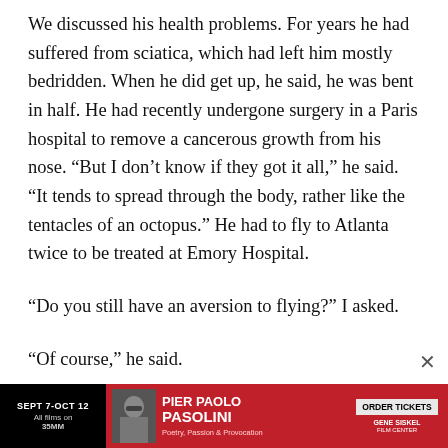We discussed his health problems. For years he had suffered from sciatica, which had left him mostly bedridden. When he did get up, he said, he was bent in half. He had recently undergone surgery in a Paris hospital to remove a cancerous growth from his nose. “But I don’t know if they got it all,” he said. “It tends to spread through the body, rather like the tentacles of an octopus.” He had to fly to Atlanta twice to be treated at Emory Hospital.
“Do you still have an aversion to flying?” I asked.
“Of course,” he said.
[Figure (infographic): Advertisement banner for Pier Paolo Pasolini film series at Gene Siskel Film Center, Sept 7–Oct 12, all films on 35MM. Red and black design with photo of Pasolini wearing sunglasses. ORDER TICKETS button.]